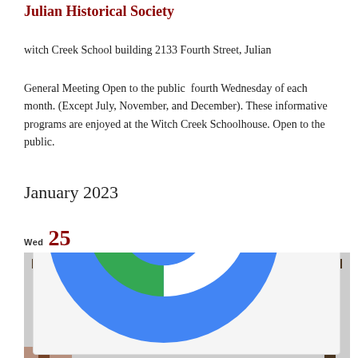Julian Historical Society
witch Creek School building 2133 Fourth Street, Julian
General Meeting Open to the public fourth Wednesday of each month. (Except July, November, and December). These informative programs are enjoyed at the Witch Creek Schoolhouse. Open to the public.
January 2023
Wed 25
[Figure (photo): Photograph of the Julian Historical Society sign on a wooden post frame, with text reading JULIAN HISTORICAL SOCIETY SANTA YSABEL SCHOOL FROM WITCH CREEK]